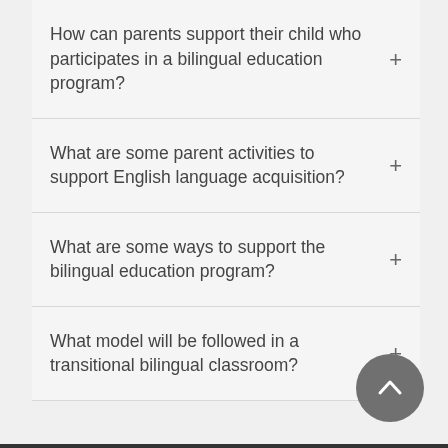How can parents support their child who participates in a bilingual education program?
What are some parent activities to support English language acquisition?
What are some ways to support the bilingual education program?
What model will be followed in a transitional bilingual classroom?